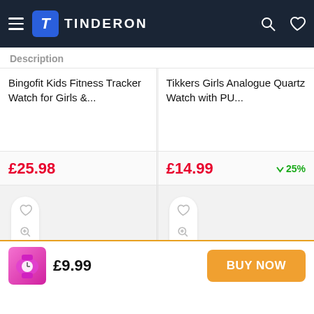TINDERON
Description
Bingofit Kids Fitness Tracker Watch for Girls &...
Tikkers Girls Analogue Quartz Watch with PU...
£25.98
£14.99 ↓25%
[Figure (screenshot): Action buttons pill with heart, zoom, shuffle icons for product 1]
[Figure (screenshot): Action buttons pill with heart, zoom, shuffle icons for product 2]
[Figure (illustration): Small product thumbnail showing a kids pink unicorn watch]
£9.99
BUY NOW